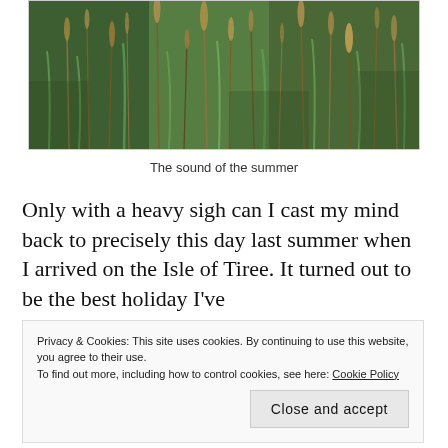[Figure (photo): Close-up photograph of tall grass and wild seed heads in shades of green and golden-brown, suggesting a summer meadow scene.]
The sound of the summer
Only with a heavy sigh can I cast my mind back to precisely this day last summer when I arrived on the Isle of Tiree. It turned out to be the best holiday I've
Privacy & Cookies: This site uses cookies. By continuing to use this website, you agree to their use.
To find out more, including how to control cookies, see here: Cookie Policy
Close and accept